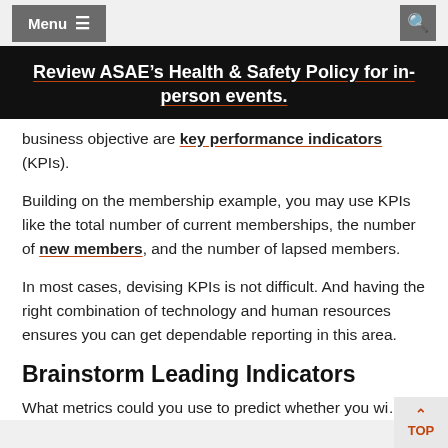Menu  [search icon]
Review ASAE’s Health & Safety Policy for in-person events.
business objective are key performance indicators (KPIs).
Building on the membership example, you may use KPIs like the total number of current memberships, the number of new members, and the number of lapsed members.
In most cases, devising KPIs is not difficult. And having the right combination of technology and human resources ensures you can get dependable reporting in this area.
Brainstorm Leading Indicators
What metrics could you use to predict whether you wi…